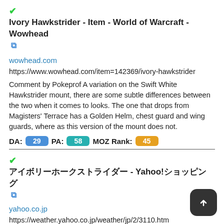✔Ivory Hawkstrider - Item - World of Warcraft - Wowhead 🔗
wowhead.com
https://www.wowhead.com/item=142369/ivory-hawkstrider
Comment by Pokeprof A variation on the Swift White Hawkstrider mount, there are some subtle differences between the two when it comes to looks. The one that drops from Magisters' Terrace has a Golden Helm, chest guard and wing guards, where as this version of the mount does not.
DA: 29  PA: 58  MOZ Rank: 45
✔アイボリーホークストライダー - Yahoo!ショッピング 🔗
yahoo.co.jp
https://weather.yahoo.co.jp/weather/jp/2/3110.htm
アイボリーホークストライダーInternet Explorerのサポートが終了のお知らせ 重要なお知らせ2022年8月からYahoo!ショッピングはInternet ExplorerをMicrosoft Edgeに…